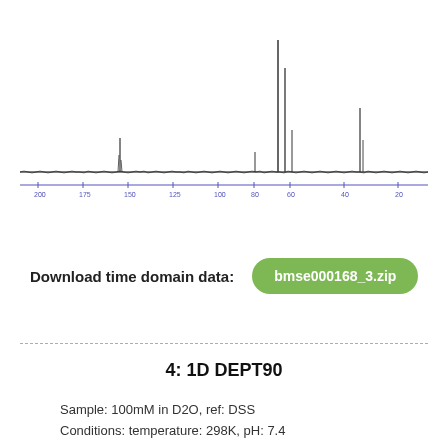[Figure (continuous-plot): 1D NMR spectrum (13C or similar) showing a baseline with several sharp peaks. Two tall peaks near the right-center of the spectrum (around 20-30 ppm region) are the most prominent. Additional smaller peaks are visible at other chemical shift positions. A blue horizontal axis with tick marks and chemical shift labels (approximately 200 to 20 ppm range) is shown below the spectrum.]
Download time domain data:
bmse000168_3.zip
4: 1D DEPT90
Sample: 100mM in D2O, ref: DSS
Conditions: temperature: 298K, pH: 7.4